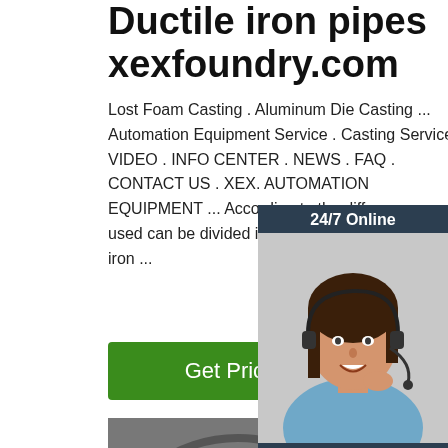Ductile iron pipes xexfoundry.com
Lost Foam Casting . Aluminum Die Casting ... Automation Equipment Service . Casting Service VIDEO . INFO CENTER . NEWS . FAQ . CONTACT US . XEX. AUTOMATION EQUIPMENT ... According to the differen used can be divided into: gray iron, ducti iron ...
[Figure (screenshot): 24/7 Online chat widget with agent photo, 'Click here for free chat!' text, and orange QUOTATION button]
[Figure (photo): Industrial wire coils/rods stacked in a warehouse or factory setting, with TOP logo overlay]
Get Price